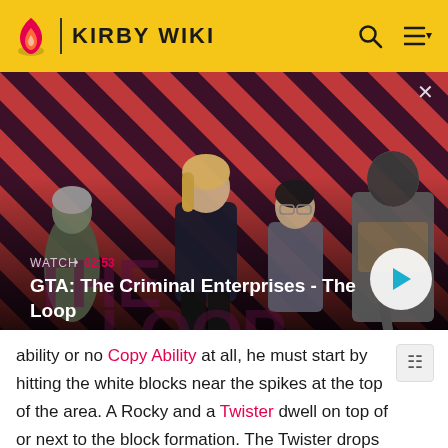KIRBY WIKI
[Figure (screenshot): GTA: The Criminal Enterprises - The Loop video thumbnail with characters on red diagonal striped background. Watch time: 02:53]
ability or no Copy Ability at all, he must start by hitting the white blocks near the spikes at the top of the area. A Rocky and a Twister dwell on top of or next to the block formation. The Twister drops a Flip item when hit.
Hidden objects: A Warp Star is hidden on the lower